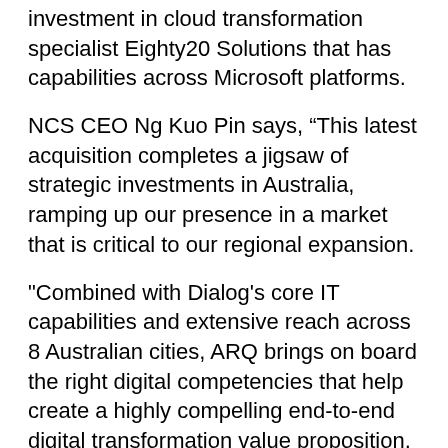investment in cloud transformation specialist Eighty20 Solutions that has capabilities across Microsoft platforms.
NCS CEO Ng Kuo Pin says, “This latest acquisition completes a jigsaw of strategic investments in Australia, ramping up our presence in a market that is critical to our regional expansion.
"Combined with Dialog's core IT capabilities and extensive reach across 8 Australian cities, ARQ brings on board the right digital competencies that help create a highly compelling end-to-end digital transformation value proposition.
"Taken together, our four investments to date have given us the necessary scale, capabilities and credibility to compete as a regional digital powerhouse as we help governments and enterprises in Singapore and Australia achieve their digital transformation goals."